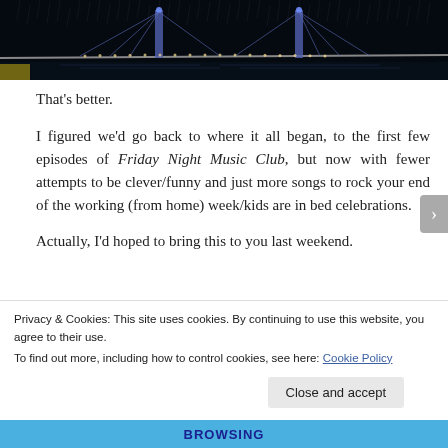[Figure (photo): Night photo of an illuminated bridge in the rain, dark sky background with streaks of rain, blue and purple lights on bridge towers and cables]
That's better.
I figured we'd go back to where it all began, to the first few episodes of Friday Night Music Club, but now with fewer attempts to be clever/funny and just more songs to rock your end of the working (from home) week/kids are in bed celebrations.
Actually, I'd hoped to bring this to you last weekend.
Privacy & Cookies: This site uses cookies. By continuing to use this website, you agree to their use.
To find out more, including how to control cookies, see here: Cookie Policy
Close and accept